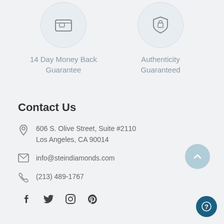[Figure (illustration): Two circular icons: a wallet/money icon and a shield/lock icon]
14 Day Money Back Guarantee
Authenticity Guaranteed
Contact Us
606 S. Olive Street, Suite #2110
Los Angeles, CA 90014
info@steindiamonds.com
(213) 489-1767
[Figure (illustration): Social media icons: Facebook, Twitter, Instagram, Pinterest]